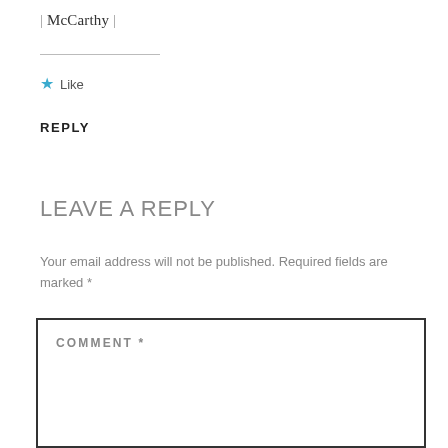| McCarthy |
Like
REPLY
LEAVE A REPLY
Your email address will not be published. Required fields are marked *
COMMENT *